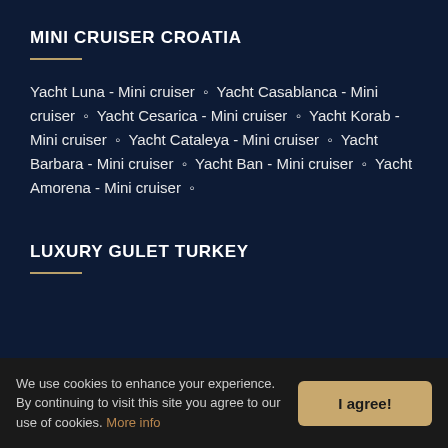MINI CRUISER CROATIA
Yacht Luna - Mini cruiser ◦ Yacht Casablanca - Mini cruiser ◦ Yacht Cesarica - Mini cruiser ◦ Yacht Korab - Mini cruiser ◦ Yacht Cataleya - Mini cruiser ◦ Yacht Barbara - Mini cruiser ◦ Yacht Ban - Mini cruiser ◦ Yacht Amorena - Mini cruiser ◦
LUXURY GULET TURKEY
We use cookies to enhance your experience. By continuing to visit this site you agree to our use of cookies. More info